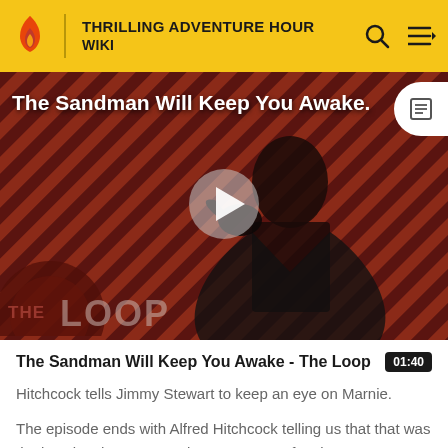THRILLING ADVENTURE HOUR WIKI
[Figure (screenshot): Video thumbnail showing a dark-caped figure against a diagonal red and black striped background with 'THE LOOP' logo and a play button overlay. Title text reads 'The Sandman Will Keep You Awake.']
The Sandman Will Keep You Awake - The Loop
Hitchcock tells Jimmy Stewart to keep an eye on Marnie.
The episode ends with Alfred Hitchcock telling us that that was the last time he saw Marnie Bennett. Her fate is